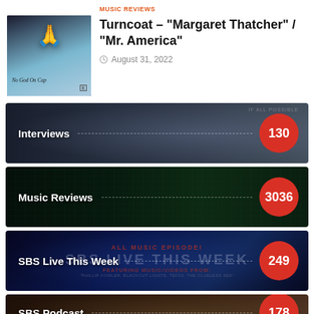[Figure (photo): Album cover thumbnail for Turncoat - dark background with illustrated praying hands and text 'No God On Cap']
MUSIC REVIEWS
Turncoat – "Margaret Thatcher" / "Mr. America"
August 31, 2022
[Figure (photo): Interviews category banner with dark moody portrait background, label 'Interviews' and count badge 130]
[Figure (photo): Music Reviews category banner with dark green matrix-style background, label 'Music Reviews' and count badge 3036]
[Figure (photo): SBS Live This Week category banner with dark blue space background and large overlay text, label 'SBS Live This Week' and count badge 249]
[Figure (photo): SBS Podcast category banner with dark warm background, label 'SBS Podcast' and count badge 178 (partially visible)]